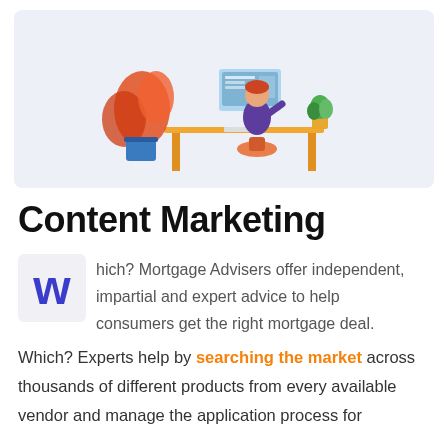[Figure (illustration): Illustration of a person sitting at a desk working on a computer, with orange/red tropical plants on the left and a small plant on the right. Light blue-gray background panel.]
Content Marketing
Which? Mortgage Advisers offer independent, impartial and expert advice to help consumers get the right mortgage deal. Which? Experts help by searching the market across thousands of different products from every available vendor and manage the application process for